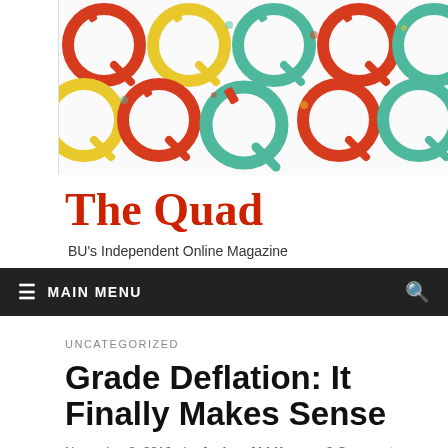[Figure (illustration): The Quad website banner with colorful Q letters pattern in red, yellow, and teal/green on white background]
The Quad
BU's Independent Online Magazine
≡  MAIN MENU
UNCATEGORIZED
Grade Deflation: It Finally Makes Sense
November 8, 2010  -  by Andrea Abi-Karam  -  3 Comments.